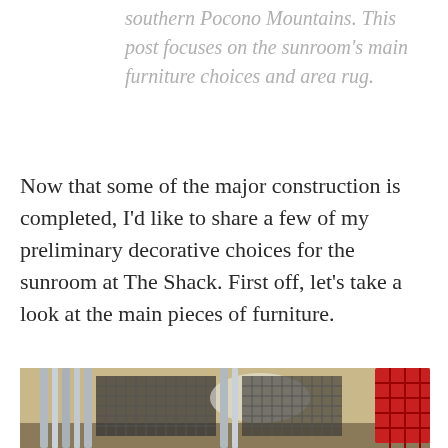southern Pocono Mountains. This post focuses on the sunroom's main furniture choices and area rug.
Now that some of the major construction is completed, I'd like to share a few of my preliminary decorative choices for the sunroom at The Shack. First off, let's take a look at the main pieces of furniture.
[Figure (photo): Close-up photo of metal furniture frames leaning against a yellow wall, with a red patterned item visible in the background right.]